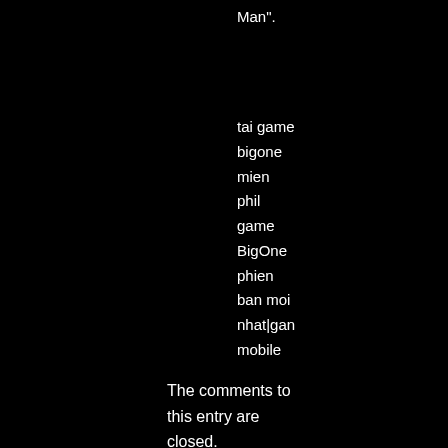Man".
tai game
bigone
mien
phil
game
BigOne
phien
ban moi
nhat|gan
mobile
Posted by: game mobile | January 20, 2013 at 09:54 PM
The comments to this entry are closed.